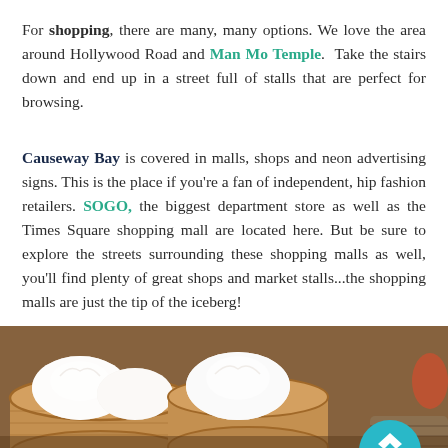For shopping, there are many, many options. We love the area around Hollywood Road and Man Mo Temple. Take the stairs down and end up in a street full of stalls that are perfect for browsing.
Causeway Bay is covered in malls, shops and neon advertising signs. This is the place if you're a fan of independent, hip fashion retailers. SOGO, the biggest department store as well as the Times Square shopping mall are located here. But be sure to explore the streets surrounding these shopping malls as well, you'll find plenty of great shops and market stalls...the shopping malls are just the tip of the iceberg!
[Figure (photo): Photo of dim sum bamboo steamer baskets filled with white dumplings/bao, warm tones, with a teal Facebook Messenger chat badge overlay in the bottom right corner.]